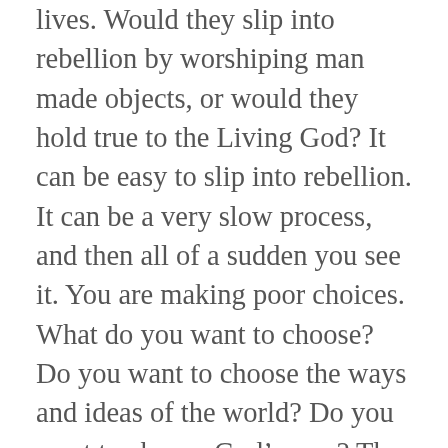lives. Would they slip into rebellion by worshiping man made objects, or would they hold true to the Living God? It can be easy to slip into rebellion. It can be a very slow process, and then all of a sudden you see it. You are making poor choices. What do you want to choose? Do you want to choose the ways and ideas of the world? Do you want to choose God’s way? The choice is yours to make. Will it be God or an imperfect substitute? When you choose to be controlled by God’s Spirit, reaffirm your choice daily. Read God’s Word. Find a godly friend or mentor.